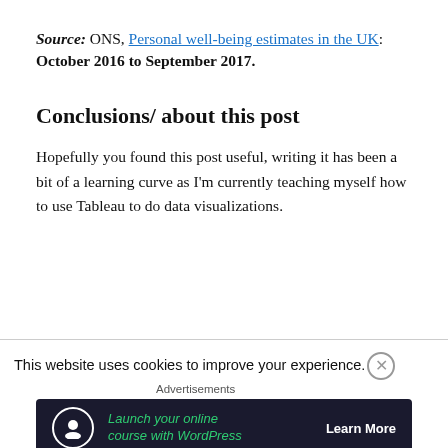Source: ONS, Personal well-being estimates in the UK: October 2016 to September 2017.
Conclusions/ about this post
Hopefully you found this post useful, writing it has been a bit of a learning curve as I'm currently teaching myself how to use Tableau to do data visualizations.
This website uses cookies to improve your experience.
Advertisements
[Figure (screenshot): Advertisement banner for WordPress online course with dark background, green italic text 'Launch your online course with WordPress', and 'Learn More' button in white text.]